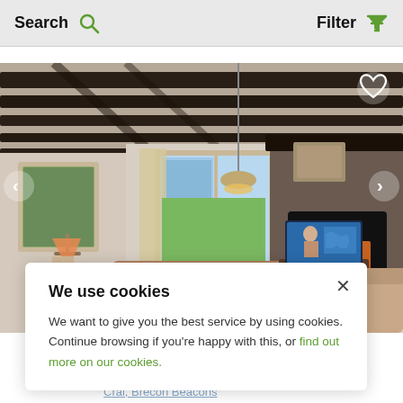Search   Filter
[Figure (photo): Interior of a traditional Welsh cottage living room with exposed dark wooden beams on ceiling, stone fireplace with lit stove, sofas, TV, window with garden view, pendant lamp, and framed pictures on walls. Navigation arrows on left and right, heart/favorite icon top right.]
We use cookies
We want to give you the best service by using cookies. Continue browsing if you're happy with this, or find out more on our cookies.
Crai, Brecon Beacons